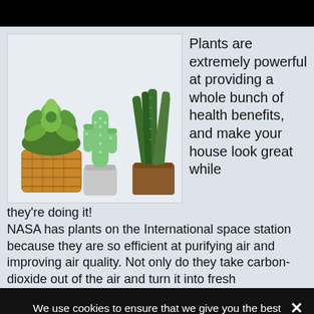[Figure (photo): Three potted plants: a succulent in a woven basket pot, a ceramic cactus in a white pot, and a snake plant in a brown plastic pot, displayed on a light grey background.]
Plants are extremely powerful at providing a whole bunch of health benefits, and make your house look great while they're doing it!
NASA has plants on the International space station because they are so efficient at purifying air and improving air quality. Not only do they take carbon-dioxide out of the air and turn it into fresh
We use cookies to ensure that we give you the best experience on our website. If you continue to use this site we will assume that you are happy with it.